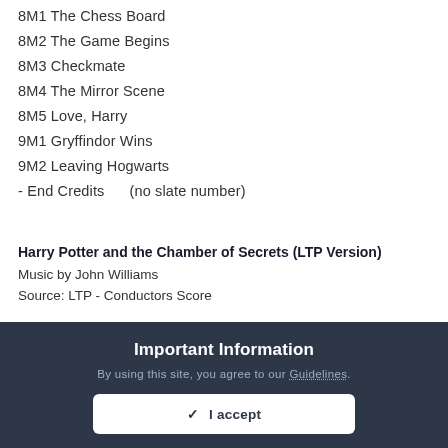8M1 The Chess Board
8M2 The Game Begins
8M3 Checkmate
8M4 The Mirror Scene
8M5 Love, Harry
9M1 Gryffindor Wins
9M2 Leaving Hogwarts
- End Credits      (no slate number)
Harry Potter and the Chamber of Secrets (LTP Version)
Music by John Williams
Source: LTP - Conductors Score
Important Information
By using this site, you agree to our Guidelines.
✓ I accept